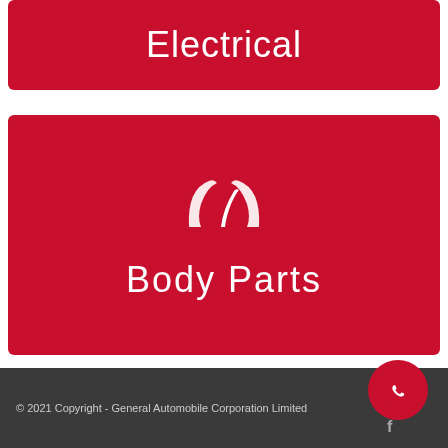Electrical
[Figure (illustration): Red card with speedometer/gauge icon and 'Body Parts' text label]
Body Parts
© 2021 Copyright - General Automobile Corporation Limited